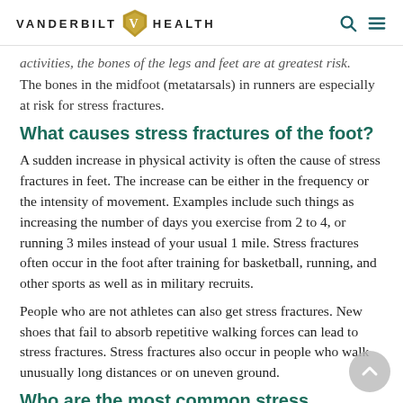VANDERBILT HEALTH
activities, the bones of the legs and feet are at greatest risk. The bones in the midfoot (metatarsals) in runners are especially at risk for stress fractures.
What causes stress fractures of the foot?
A sudden increase in physical activity is often the cause of stress fractures in feet. The increase can be either in the frequency or the intensity of movement. Examples include such things as increasing the number of days you exercise from 2 to 4, or running 3 miles instead of your usual 1 mile. Stress fractures often occur in the foot after training for basketball, running, and other sports as well as in military recruits.
People who are not athletes can also get stress fractures. New shoes that fail to absorb repetitive walking forces can lead to stress fractures. Stress fractures also occur in people who walk unusually long distances or on uneven ground.
Who are the most common stress fractures of the